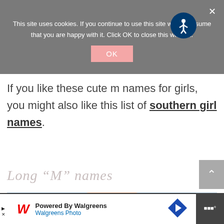This site uses cookies. If you continue to use this site we will assume that you are happy with it. Click OK to close this window.
If you like these cute m names for girls, you might also like this list of southern girl names.
Long “M” names
[Figure (photo): Partial photo of a child at a beach, wearing a pink/red swimsuit, visible from waist down]
[Figure (infographic): Walgreens advertisement banner: Powered By Walgreens, Walgreens Photo, with logo and navigation arrow]